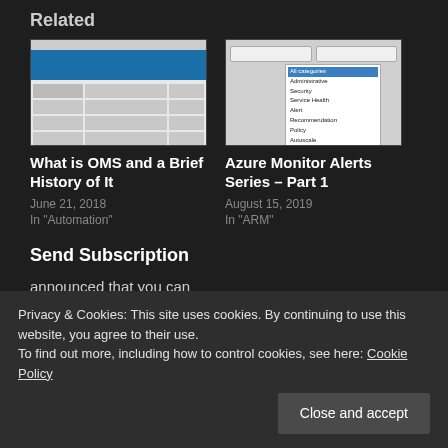Related
[Figure (screenshot): Screenshot of OMS dashboard interface with blue header and data rows]
[Figure (screenshot): Screenshot of Azure Monitor Alerts category filter dropdown]
What is OMS and a Brief History of It
Azure Monitor Alerts Series – Part 1
June 21, 2018
In "Automation"
August 15, 2019
In "ARM"
Send Subscription
Privacy & Cookies: This site uses cookies. By continuing to use this website, you agree to their use.
To find out more, including how to control cookies, see here: Cookie Policy
Close and accept
announced that you can